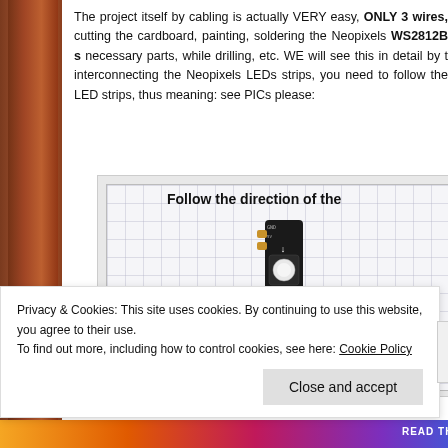The project itself by cabling is actually VERY easy, ONLY 3 wires, cutting the cardboard, painting, soldering the Neopixels WS2812B s necessary parts, while drilling, etc. WE will see this in detail by t interconnecting the Neopixels LEDs strips, you need to follow the LED strips, thus meaning: see PICs please:
[Figure (photo): Photo of a WS2812B Neopixel LED strip segment on a grid background, with title 'Follow the direction of the'. Shows a narrow black PCB strip with two RGB LEDs and directional arrows indicating data flow direction.]
Privacy & Cookies: This site uses cookies. By continuing to use this website, you agree to their use.
To find out more, including how to control cookies, see here: Cookie Policy
Close and accept